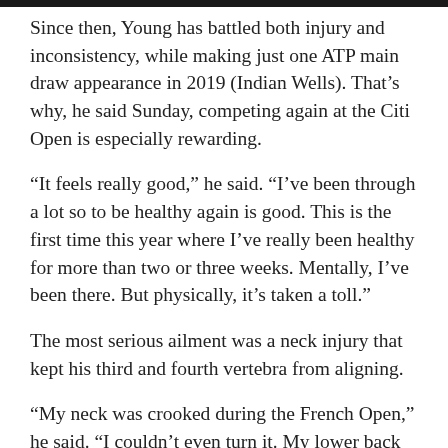Since then, Young has battled both injury and inconsistency, while making just one ATP main draw appearance in 2019 (Indian Wells). That’s why, he said Sunday, competing again at the Citi Open is especially rewarding.
“It feels really good,” he said. “I’ve been through a lot so to be healthy again is good. This is the first time this year where I’ve really been healthy for more than two or three weeks. Mentally, I’ve been there. But physically, it’s taken a toll.”
The most serious ailment was a neck injury that kept his third and fourth vertebra from aligning.
“My neck was crooked during the French Open,” he said. “I couldn’t even turn it. My lower back was spasming… There were a lot of issues.”
Young lost in the first-round of French Open qualifying, part of a six-match winless skid in all competition from April through June.